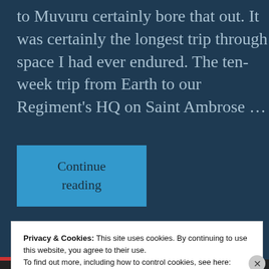to Muvuru certainly bore that out. It was certainly the longest trip through space I had ever endured. The ten-week trip from Earth to our Regiment's HQ on Saint Ambrose …
Continue reading
carlos10101   Fiction, Writing Projects
Privacy & Cookies: This site uses cookies. By continuing to use this website, you agree to their use.
To find out more, including how to control cookies, see here: Cookie Policy
Close and accept